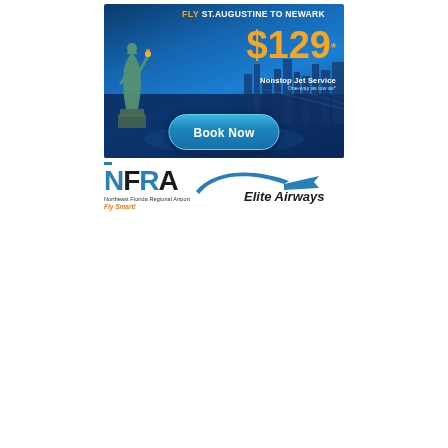[Figure (illustration): Advertisement banner for Elite Airways: Fly St. Augustine to Newark for $129 nonstop jet service one-way as low as. Features Statue of Liberty silhouette against a nighttime NYC skyline with a Book Now button.]
[Figure (logo): NFRA (Northeast Florida Regional Airport) logo with text 'Northeast Florida Regional Airport, Fly Smart!' alongside Elite Airways logo with swoosh graphic.]